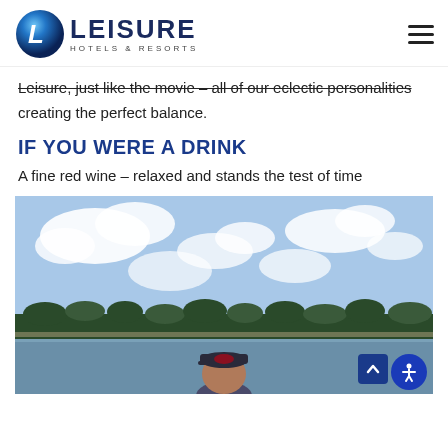Leisure Hotels & Resorts logo with hamburger menu
Leisure, just like the movie – all of our eclectic personalities creating the perfect balance.
IF YOU WERE A DRINK
A fine red wine – relaxed and stands the test of time
[Figure (photo): Person wearing a cap standing near a lake with a treeline in the background under a partly cloudy sky]